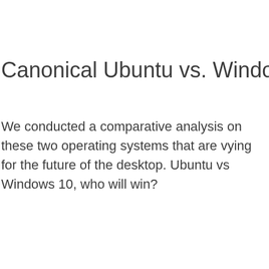Canonical Ubuntu vs. Windows 10
We conducted a comparative analysis on these two operating systems that are vying for the future of the desktop. Ubuntu vs Windows 10, who will win?